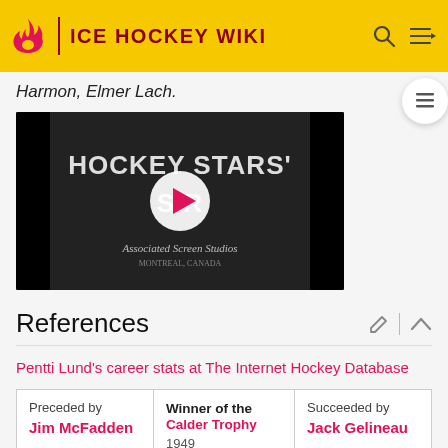ICE HOCKEY WIKI
Harmon, Elmer Lach.
[Figure (screenshot): Video thumbnail showing 'Hockey Stars' with a play button overlay, produced by Associated Screen Studios]
References
Pentti Lund's career stats at The Internet Hockey Database
| Preceded by | Winner of the Calder Trophy | Succeeded by |
| --- | --- | --- |
| Jim McFadden | 1949 | Jack Gelineau |